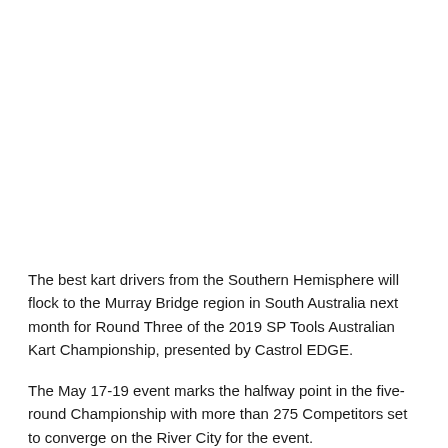The best kart drivers from the Southern Hemisphere will flock to the Murray Bridge region in South Australia next month for Round Three of the 2019 SP Tools Australian Kart Championship, presented by Castrol EDGE.
The May 17-19 event marks the halfway point in the five-round Championship with more than 275 Competitors set to converge on the River City for the event.